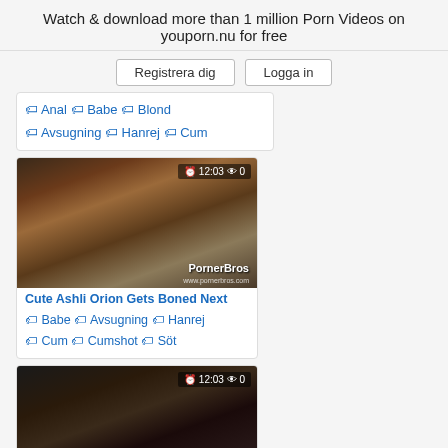Watch & download more than 1 million Porn Videos on youporn.nu for free
Registrera dig  Logga in
🏷 Anal 🏷 Babe 🏷 Blond 🏷 Avsugning 🏷 Hanrej 🏷 Cum
[Figure (photo): Video thumbnail showing woman with dark hair. Overlay: 12:03 👁 0. Watermark: PornerBros]
Cute Ashli Orion Gets Boned Next
🏷 Babe 🏷 Avsugning 🏷 Hanrej 🏷 Cum 🏷 Cumshot 🏷 Söt
[Figure (photo): Video thumbnail showing two people. Overlay: 12:03 👁 0]